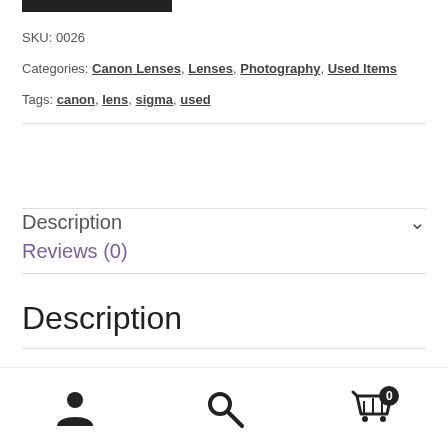[Figure (other): Black image bar at top]
SKU: 0026
Categories: Canon Lenses, Lenses, Photography, Used Items
Tags: canon, lens, sigma, used
Description
Reviews (0)
Description
[Figure (infographic): Bottom navigation bar with person icon, search icon, and cart icon with badge showing 0]